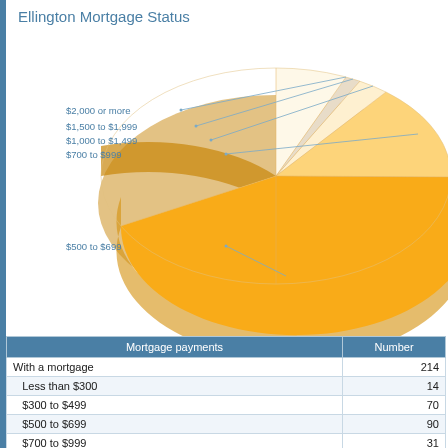Ellington Mortgage Status
[Figure (pie-chart): Ellington Mortgage Status]
| Mortgage payments | Number |
| --- | --- |
| With a mortgage | 214 |
| Less than $300 | 14 |
| $300 to $499 | 70 |
| $500 to $699 | 90 |
| $700 to $999 | 31 |
| $1,000 to $1,499 | 6 |